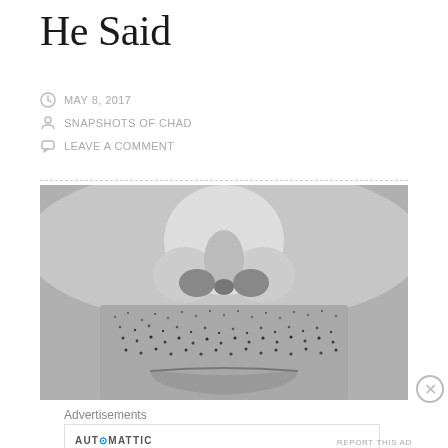He Said
MAY 8, 2017
SNAPSHOTS OF CHAD
LEAVE A COMMENT
[Figure (photo): Close-up black and white photograph of a man's nose and upper lip area, showing facial stubble/beard growth beneath the nose.]
Advertisements
AUTOMATTIC
Build a better web and a better world.